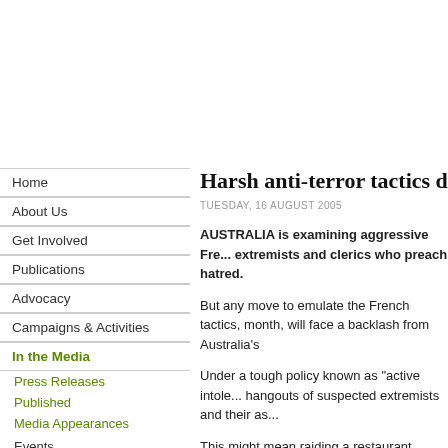Home
About Us
Get Involved
Publications
Advocacy
Campaigns & Activities
In the Media
Press Releases
Published
Media Appearances
Events
Gallery
Popular
Harsh anti-terror tactics d
TUESDAY, 16 AUGUST 2005
AUSTRALIA is examining aggressive Fre... extremists and clerics who preach hatred.
But any move to emulate the French tactics, month, will face a backlash from Australia's
Under a tough policy known as "active intole... hangouts of suspected extremists and their as...
This might mean raiding a restaurant under th...
French officials have told The Economist ma... potential bomb attacks, resulting in the determ...